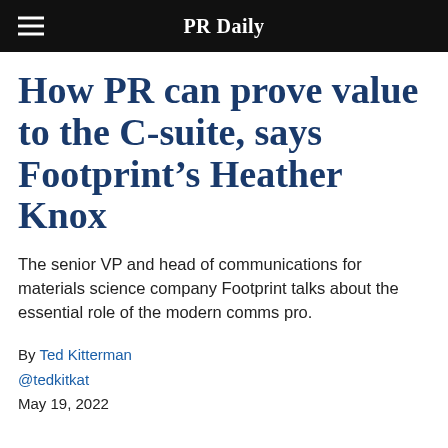PR Daily
How PR can prove value to the C-suite, says Footprint's Heather Knox
The senior VP and head of communications for materials science company Footprint talks about the essential role of the modern comms pro.
By Ted Kitterman
@tedkitkat
May 19, 2022